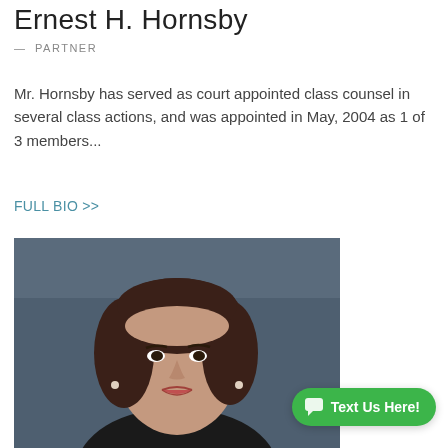Ernest H. Hornsby
— PARTNER
Mr. Hornsby has served as court appointed class counsel in several class actions, and was appointed in May, 2004 as 1 of 3 members...
FULL BIO >>
[Figure (photo): Professional headshot of a woman with dark brown shoulder-length hair, wearing a dark jacket, photographed against a dark blue-gray background.]
Text Us Here!